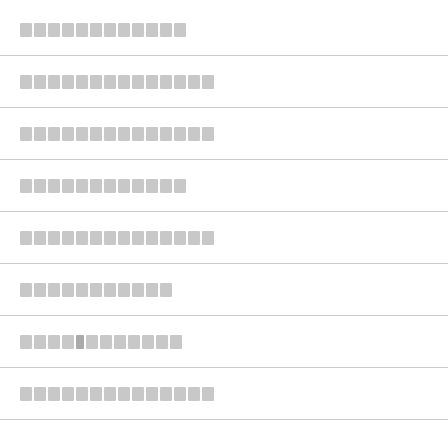[redacted row 1]
[redacted row 2]
[redacted row 3]
[redacted row 4]
[redacted row 5]
[redacted row 6]
[redacted row 7 with x]
[redacted row 8]